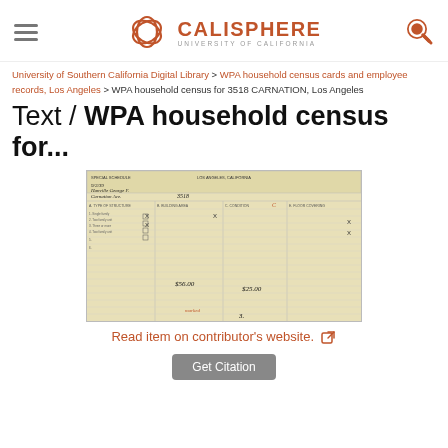CALISPHERE — University of California
University of Southern California Digital Library > WPA household census cards and employee records, Los Angeles > WPA household census for 3518 CARNATION, Los Angeles
Text / WPA household census for...
[Figure (photo): Scanned WPA household census card for 3518 Carnation Ave, Los Angeles, filled with handwritten entries and checkboxes]
Read item on contributor's website.
Get Citation